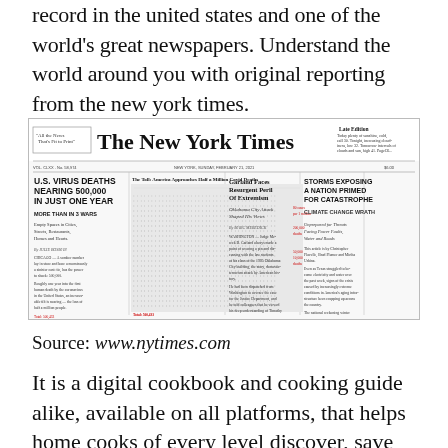record in the united states and one of the world's great newspapers. Understand the world around you with original reporting from the new york times.
[Figure (screenshot): A screenshot of The New York Times front page from Sunday, February 21, 2021, showing headlines about U.S. virus deaths nearing 500,000, a chart titled 'The Toll: America Approaches Half a Million Covid Deaths', stories about Garland facing extremism peril, and storms exposing a nation primed for catastrophe.]
Source: www.nytimes.com
It is a digital cookbook and cooking guide alike, available on all platforms, that helps home cooks of every level discover, save and organize the